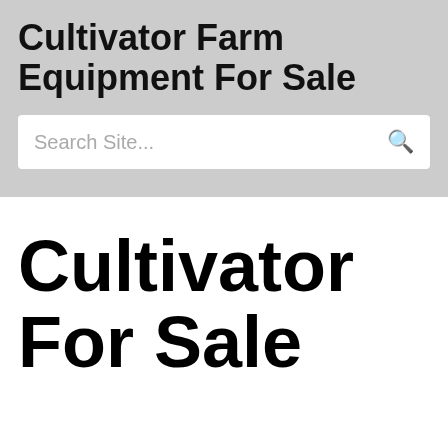Cultivator Farm Equipment For Sale
Search Site...
Cultivator For Sale